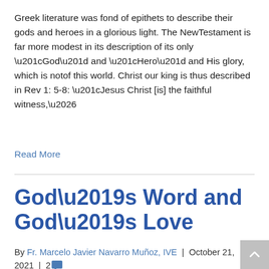Greek literature was fond of epithets to describe their gods and heroes in a glorious light. The NewTestament is far more modest in its description of its only “God” and “Hero” and His glory, which is notof this world. Christ our king is thus described in Rev 1: 5-8: “Jesus Christ [is] the faithful witness,…
Read More
God’s Word and God’s Love
By Fr. Marcelo Javier Navarro Muñoz, IVE | October 21, 2021 | 2